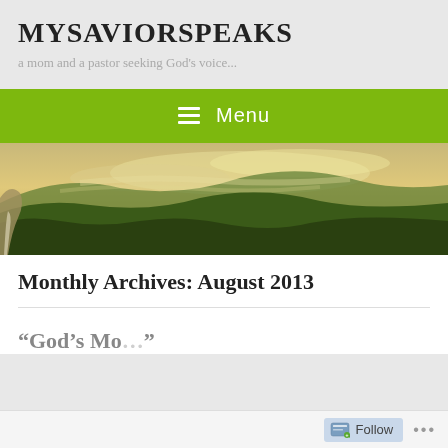MYSAVIORSPEAKS
a mom and a pastor seeking God's voice...
≡ Menu
[Figure (photo): Panoramic landscape photo of misty forested mountains with a waterfall on the left side, golden sunlight filtering through clouds over tree-covered hills]
Monthly Archives: August 2013
“God’s Mo…” (partial post title, clipped at bottom)
Follow ...